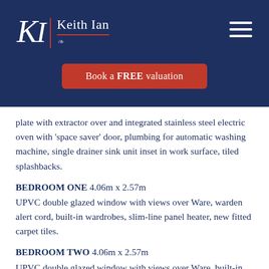[Figure (logo): Keith Ian estate agency logo with KI monogram in white italic serif font, red underline, and Keith Ian text in white on dark navy background]
Book a FREE valuation
plate with extractor over and integrated stainless steel electric oven with 'space saver' door, plumbing for automatic washing machine, single drainer sink unit inset in work surface, tiled splashbacks.
BEDROOM ONE 4.06m x 2.57m
UPVC double glazed window with views over Ware, warden alert cord, built-in wardrobes, slim-line panel heater, new fitted carpet tiles.
BEDROOM TWO 4.06m x 2.57m
UPVC double glazed window with views over Ware, built-in